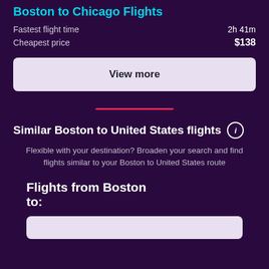Boston to Chicago Flights
Fastest flight time    2h 41m
Cheapest price    $138
View more
Similar Boston to United States flights
Flexible with your destination? Broaden your search and find flights similar to your Boston to United States route
Flights from Boston to: